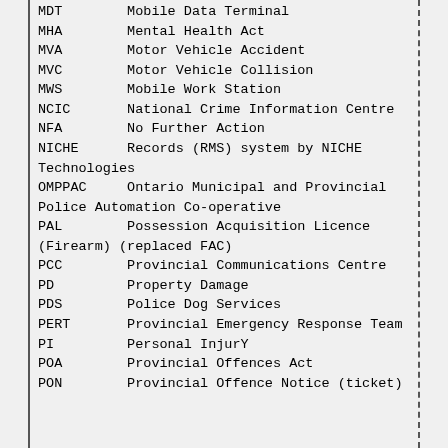MDT        Mobile Data Terminal
MHA        Mental Health Act
MVA        Motor Vehicle Accident
MVC        Motor Vehicle Collision
MWS        Mobile Work Station
NCIC       National Crime Information Centre
NFA        No Further Action
NICHE      Records (RMS) system by NICHE Technologies
OMPPAC     Ontario Municipal and Provincial Police Automation Co-operative
PAL        Possession Acquisition Licence (Firearm) (replaced FAC)
PCC        Provincial Communications Centre
PD         Property Damage
PDS        Police Dog Services
PERT       Provincial Emergency Response Team
PI         Personal InjurY
POA        Provincial Offences Act
PON        Provincial Offence Notice (ticket)